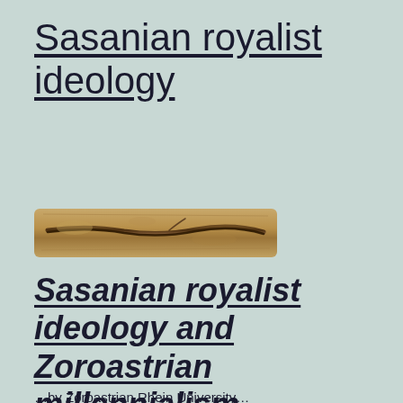Sasanian royalist ideology
[Figure (photo): A long narrow ancient artifact, possibly a tablet or inscribed bone/wood, with relief markings on a tan/brown surface.]
Sasanian royalist ideology and Zoroastrian millennialism
…by Zoroastrian Rhein University…